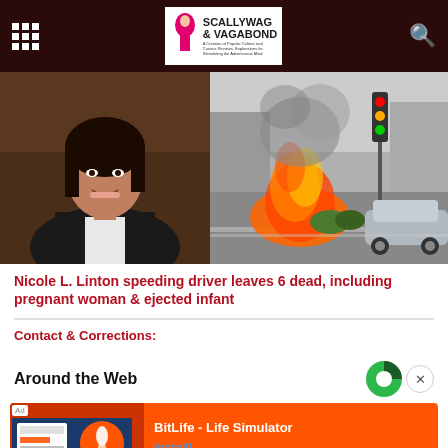Scallywag & Vagabond
[Figure (photo): Left: Professional headshot of Nicole L. Linton, a woman in a black blazer smiling. Right: Street scene showing a car on fire at an intersection with traffic lights and smoke.]
Nicole L. Linton speeding driver leaves 6 dead, including pregnant woman & ejected infant
Contact & Corrections:
Around the Web
[Figure (screenshot): Advertisement banner: BitLife - Life Simulator with Install button on orange background]